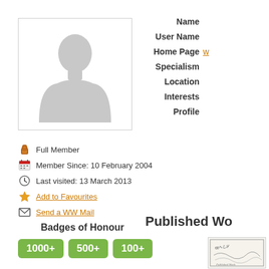[Figure (photo): Placeholder avatar silhouette of a person, grey tones, white background with border]
Full Member
Member Since: 10 February 2004
Last visited: 13 March 2013
Add to Favourites
Send a WW Mail
Badges of Honour
1000+  500+  100+
Name
User Name
Home Page
Specialism
Location
Interests
Profile
Published Wo
[Figure (illustration): Small thumbnail of a published work, decorative script/illustration visible]